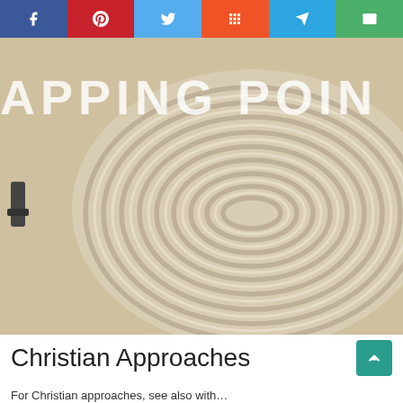Social share bar: Facebook, Pinterest, Twitter, Mix, Telegram, Email
[Figure (photo): Aerial or overhead photograph of a large labyrinth pattern made of stones or sand ridges on a sandy/light-colored surface, with a person visible at the left edge. Partially overlaid title text 'APPING POIN' visible in white.]
Christian Approaches
For Christian approaches, see also with...